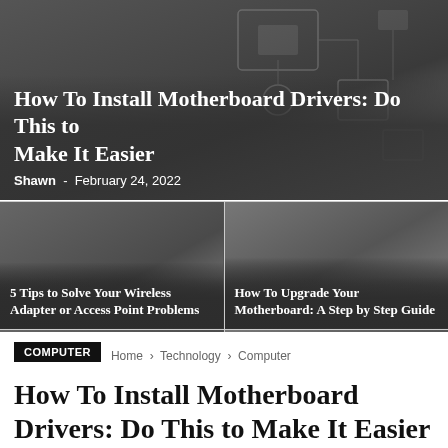[Figure (photo): Hero image of a motherboard/circuit board with dark overlay, showing article title and author]
How To Install Motherboard Drivers: Do This to Make It Easier
Shawn - February 24, 2022
[Figure (photo): Card image: dark gradient background for '5 Tips to Solve Your Wireless Adapter or Access Point Problems']
5 Tips to Solve Your Wireless Adapter or Access Point Problems
[Figure (photo): Card image: dark gradient background for 'How To Upgrade Your Motherboard: A Step by Step Guide']
How To Upgrade Your Motherboard: A Step by Step Guide
[Figure (photo): Card image: dark gradient background for 'GTA San Andreas Download For PC Highly Compressed']
GTA San Andreas Download For PC Highly Compressed
[Figure (photo): Card image: dark gradient background for '6 Ways to Use the Kahoot Bot to Boost Engagement in Your Classroom']
6 Ways to Use the Kahoot Bot to Boost Engagement in Your Classroom
COMPUTER
Home > Technology > Computer
How To Install Motherboard Drivers: Do This to Make It Easier